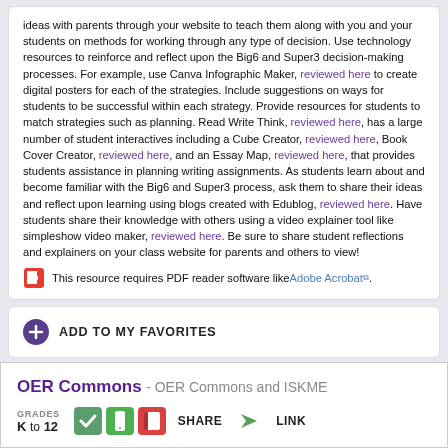ideas with parents through your website to teach them along with you and your students on methods for working through any type of decision. Use technology resources to reinforce and reflect upon the Big6 and Super3 decision-making processes. For example, use Canva Infographic Maker, reviewed here to create digital posters for each of the strategies. Include suggestions on ways for students to be successful within each strategy. Provide resources for students to match strategies such as planning. Read Write Think, reviewed here, has a large number of student interactives including a Cube Creator, reviewed here, Book Cover Creator, reviewed here, and an Essay Map, reviewed here, that provides students assistance in planning writing assignments. As students learn about and become familiar with the Big6 and Super3 process, ask them to share their ideas and reflect upon learning using blogs created with Edublog, reviewed here. Have students share their knowledge with others using a video explainer tool like simpleshow video maker, reviewed here. Be sure to share student reflections and explainers on your class website for parents and others to view!
This resource requires PDF reader software like Adobe Acrobat.
ADD TO MY FAVORITES
OER Commons - OER Commons and ISKME
GRADES K TO 12
SHARE
LINK